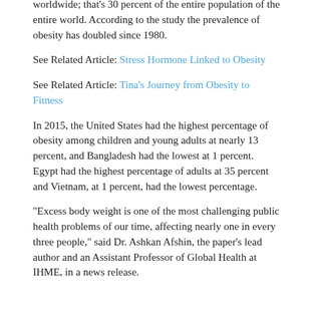worldwide; that's 30 percent of the entire population of the entire world. According to the study the prevalence of obesity has doubled since 1980.
See Related Article: Stress Hormone Linked to Obesity
See Related Article: Tina's Journey from Obesity to Fitness
In 2015, the United States had the highest percentage of obesity among children and young adults at nearly 13 percent, and Bangladesh had the lowest at 1 percent. Egypt had the highest percentage of adults at 35 percent and Vietnam, at 1 percent, had the lowest percentage.
"Excess body weight is one of the most challenging public health problems of our time, affecting nearly one in every three people," said Dr. Ashkan Afshin, the paper's lead author and an Assistant Professor of Global Health at IHME, in a news release.